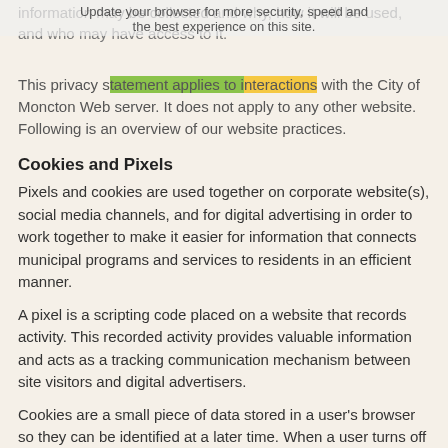information may be collected and why, how it will be used, and who may have access to it.
This privacy statement applies to interactions with the City of Moncton Web server. It does not apply to any other website. Following is an overview of our website practices.
Cookies and Pixels
Pixels and cookies are used together on corporate website(s), social media channels, and for digital advertising in order to work together to make it easier for information that connects municipal programs and services to residents in an efficient manner.
A pixel is a scripting code placed on a website that records activity. This recorded activity provides valuable information and acts as a tracking communication mechanism between site visitors and digital advertisers.
Cookies are a small piece of data stored in a user's browser so they can be identified at a later time. When a user turns off cookies, they prevent the pixel from tracking their activity. The pixel, in this case, will still account for the anonymous visit to the page, but no other information can be recorded. This would occur when pixels are coded into webpages